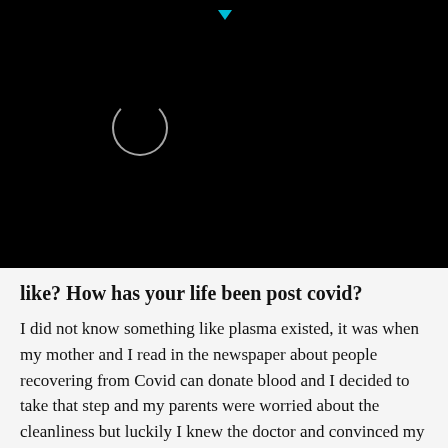[Figure (screenshot): Black screen with a loading circle spinner (white outline) and a small cyan downward-pointing arrow at the top center, indicating a video or media player in loading state.]
like? How has your life been post covid?
I did not know something like plasma existed, it was when my mother and I read in the newspaper about people recovering from Covid can donate blood and I decided to take that step and my parents were worried about the cleanliness but luckily I knew the doctor and convinced my parents, it was a good experience and am grateful that I got a chance to do that. Post-Covid life has not changed, I am just being a little more careful and healthy.
f Every actor has a dream to work their favourite director, but what is it like...